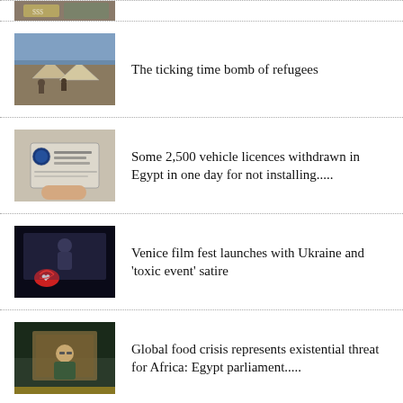[Figure (photo): Partial view of a news thumbnail at the top of the page (cropped, shows what appears to be money/dollar bills)]
[Figure (photo): Refugee camp with tents and people]
The ticking time bomb of refugees
[Figure (photo): A hand holding a vehicle licence document with Arabic text]
Some 2,500 vehicle licences withdrawn in Egypt in one day for not installing.....
[Figure (photo): Venice film festival scene with a person on screen and a winged lion logo]
Venice film fest launches with Ukraine and 'toxic event' satire
[Figure (photo): Man speaking at a podium, possibly in a parliament or official setting]
Global food crisis represents existential threat for Africa: Egypt parliament.....
[Figure (photo): Military tank on a road in Ethiopia]
EXPLAINER: Key dates in Ethiopia's war
[Figure (photo): Partial image showing Egypt and US flags]
Egypt, US to announce deal supporting